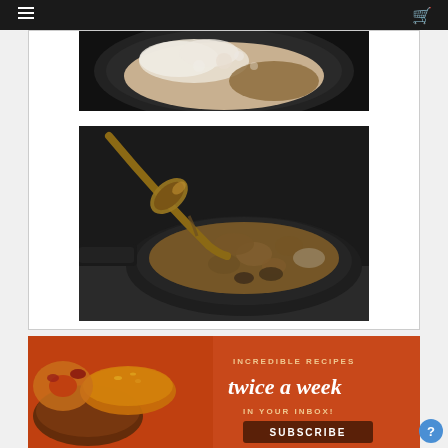[Figure (photo): Navigation bar with hamburger menu icon on left and orange shopping cart icon on right, dark background]
[Figure (photo): Partial view of a creamy dish being cooked in a dark cast iron pan, seen from top]
[Figure (photo): Close-up of a cast iron skillet with a brown gravy meat dish, a wooden spoon lifting some of the stew]
[Figure (photo): Orange advertisement banner with food images on left and text 'INCREDIBLE RECIPES twice a week IN YOUR INBOX! SUBSCRIBE']